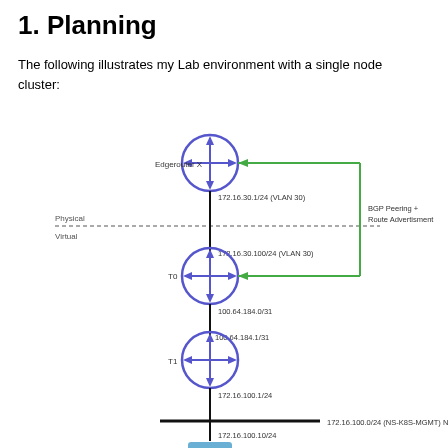1. Planning
The following illustrates my Lab environment with a single node cluster:
[Figure (network-graph): Network diagram showing a single node cluster with Edgerouter X at the top connected via VLAN 30 (172.16.30.1/24), a physical/virtual boundary, T0 router (172.16.30.100/24 VLAN 30, 100.64.184.0/31), T1 router (100.64.184.1/31, 172.16.100.1/24), a NSX-T segment (172.16.100.0/24 NS-K8S-MGMT), and a VM at the bottom (172.16.100.10/24). A green arrow represents BGP Peering + Route Advertisement connecting T0 back to Edgerouter X.]